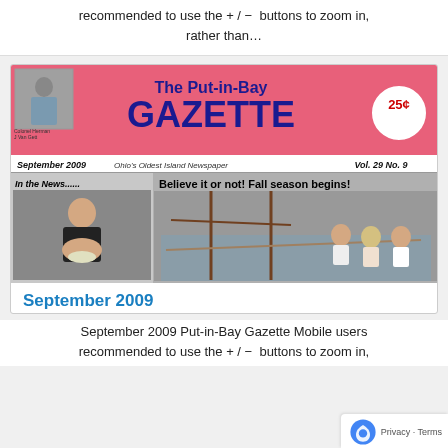recommended to use the + / − buttons to zoom in, rather than…
[Figure (photo): Scanned front page of The Put-in-Bay Gazette, September 2009, Vol. 29 No. 9. Pink masthead with blue GAZETTE title and 25¢ price circle. Below: 'In the News.....' column with a man drinking from a bowl, and 'Believe it or not! Fall season begins!' with people on a tall ship pulling ropes.]
September 2009
September 2009 Put-in-Bay Gazette Mobile users recommended to use the + / − buttons to zoom in,